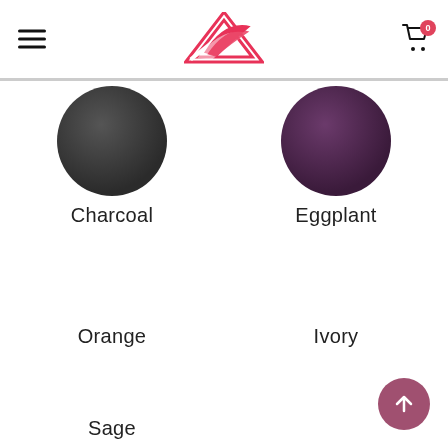Navigation header with logo and cart
[Figure (illustration): Charcoal color swatch circle]
Charcoal
[Figure (illustration): Eggplant color swatch circle]
Eggplant
Orange
Ivory
Sage